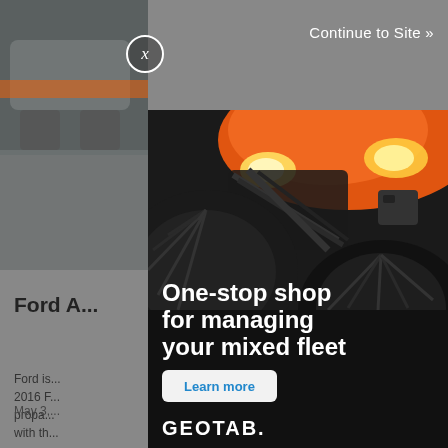[Figure (screenshot): Website screenshot showing a dimmed background page with a partial article about Ford F-150, overlaid by an ad modal from Geotab featuring an orange street sweeper vehicle. The ad reads 'One-stop shop for managing your mixed fleet' with a 'Learn more' button and Geotab logo. A close (X) button and 'Continue to Site »' link appear at the top.]
Continue to Site »
Ford A... F-150
Ford is... r its 2016 F... d propane... ed with th...
May 3,...
One-stop shop for managing your mixed fleet
Learn more
GEOTAB.